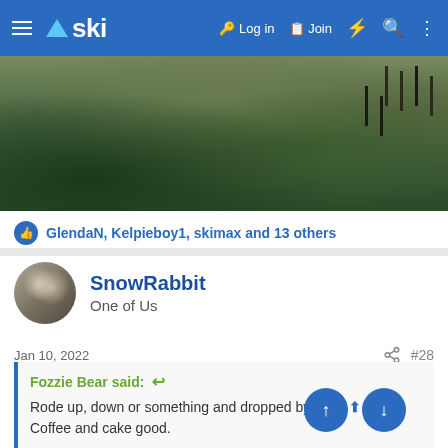ski — Log in  Join
[Figure (photo): Outdoor landscape photo showing a grassy hillside with sparse shrubs and bare trees in the background]
GlendaN, Kelpieboy1, skimax and 13 others
SnowRabbit
One of Us
Jan 10, 2022  #28
Fozzie Bear said:
Rode up, down or something and dropped by Eyre — Coffee and cake good.